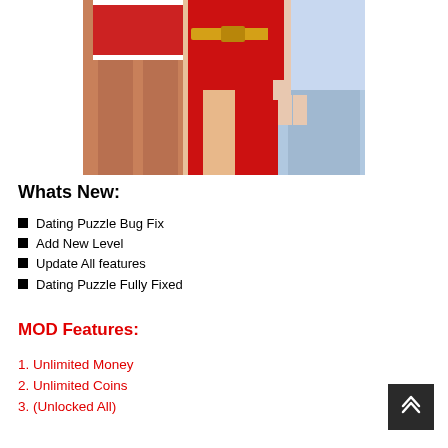[Figure (illustration): Illustrated cartoon-style female characters in red and blue outfits, cropped at waist level]
Whats New:
Dating Puzzle Bug Fix
Add New Level
Update All features
Dating Puzzle Fully Fixed
MOD Features:
1. Unlimited Money
2. Unlimited Coins
3. (Unlocked All)